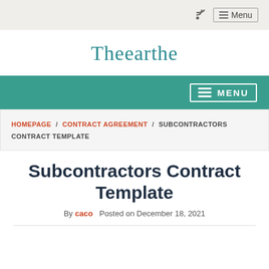Menu
Theearthe
MENU
HOMEPAGE / CONTRACT AGREEMENT / SUBCONTRACTORS CONTRACT TEMPLATE
Subcontractors Contract Template
By caco   Posted on December 18, 2021